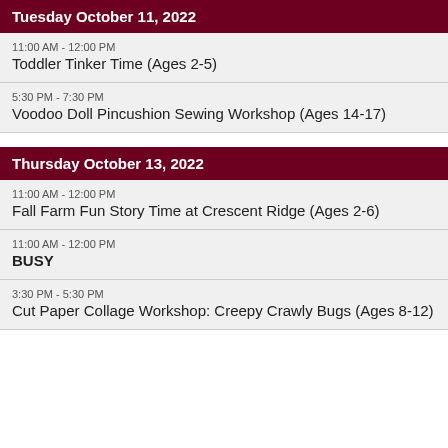Tuesday October 11, 2022
11:00 AM - 12:00 PM
Toddler Tinker Time (Ages 2-5)
5:30 PM - 7:30 PM
Voodoo Doll Pincushion Sewing Workshop (Ages 14-17)
Thursday October 13, 2022
11:00 AM - 12:00 PM
Fall Farm Fun Story Time at Crescent Ridge (Ages 2-6)
11:00 AM - 12:00 PM
BUSY
3:30 PM - 5:30 PM
Cut Paper Collage Workshop: Creepy Crawly Bugs (Ages 8-12)